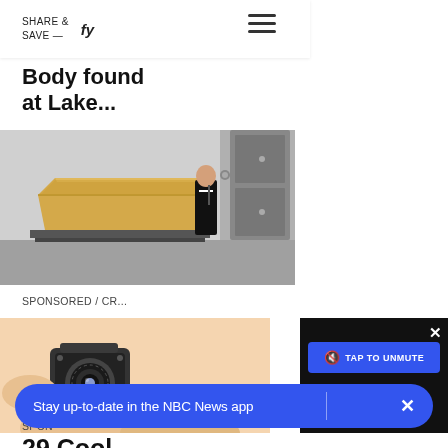SHARE & SAVE —  fy  ≡
Body found at Lake...
[Figure (photo): Person in black suit standing next to a wooden coffin in a mortuary room]
SPONSORED / CR...
You will never...
[Figure (photo): Hand holding a small metallic spy camera]
[Figure (screenshot): Video player panel with TAP TO UNMUTE button in blue on dark background, with X close button]
SPON
29 Cool
Stay up-to-date in the NBC News app